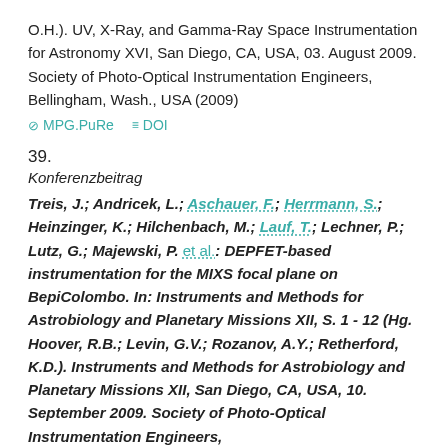O.H.). UV, X-Ray, and Gamma-Ray Space Instrumentation for Astronomy XVI, San Diego, CA, USA, 03. August 2009. Society of Photo-Optical Instrumentation Engineers, Bellingham, Wash., USA (2009)
MPG.PuRe   DOI
39.
Konferenzbeitrag
Treis, J.; Andricek, L.; Aschauer, F.; Herrmann, S.; Heinzinger, K.; Hilchenbach, M.; Lauf, T.; Lechner, P.; Lutz, G.; Majewski, P. et al.: DEPFET-based instrumentation for the MIXS focal plane on BepiColombo. In: Instruments and Methods for Astrobiology and Planetary Missions XII, S. 1 - 12 (Hg. Hoover, R.B.; Levin, G.V.; Rozanov, A.Y.; Retherford, K.D.). Instruments and Methods for Astrobiology and Planetary Missions XII, San Diego, CA, USA, 10. September 2009. Society of Photo-Optical Instrumentation Engineers,